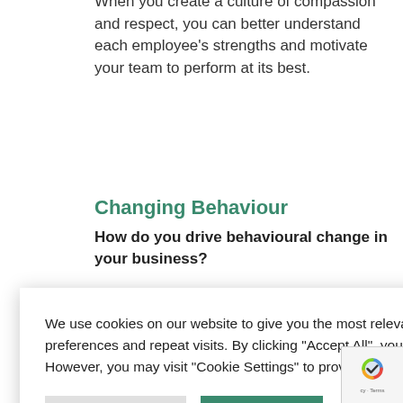When you create a culture of compassion and respect, you can better understand each employee's strengths and motivate your team to perform at its best.
Changing Behaviour
How do you drive behavioural change in your business?
We use cookies on our website to give you the most relevant experience by remembering your preferences and repeat visits. By clicking “Accept All”, you consent to the use of ALL the cookies. However, you may visit "Cookie Settings" to provide a controlled consent.
y often focus ions through nology or
roundwork al ponsible for equipment only as
effective as the people who use them.